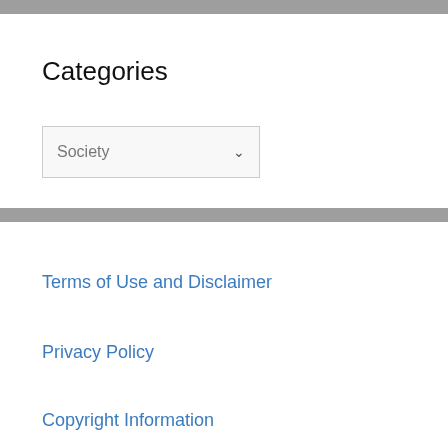Categories
Society
Terms of Use and Disclaimer
Privacy Policy
Copyright Information